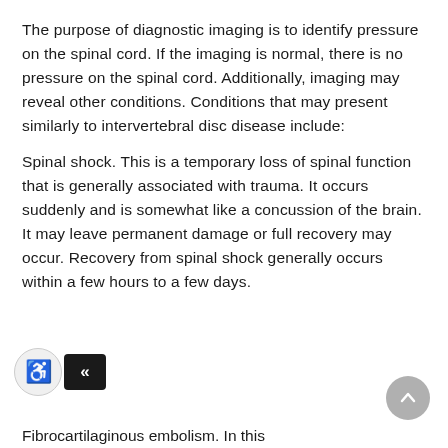The purpose of diagnostic imaging is to identify pressure on the spinal cord. If the imaging is normal, there is no pressure on the spinal cord. Additionally, imaging may reveal other conditions. Conditions that may present similarly to intervertebral disc disease include:
Spinal shock. This is a temporary loss of spinal function that is generally associated with trauma. It occurs suddenly and is somewhat like a concussion of the brain. It may leave permanent damage or full recovery may occur. Recovery from spinal shock generally occurs within a few hours to a few days.
Fibrocartilaginous embolism. In this